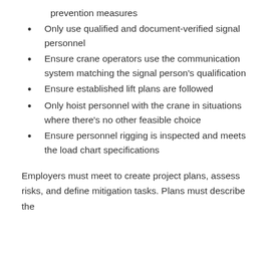prevention measures
Only use qualified and document-verified signal personnel
Ensure crane operators use the communication system matching the signal person's qualification
Ensure established lift plans are followed
Only hoist personnel with the crane in situations where there's no other feasible choice
Ensure personnel rigging is inspected and meets the load chart specifications
Employers must meet to create project plans, assess risks, and define mitigation tasks. Plans must describe the